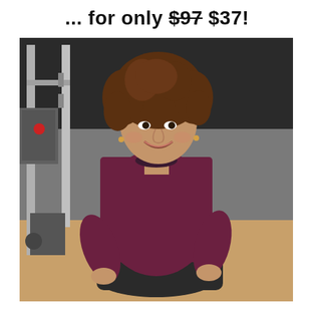... for only $97 $37!
[Figure (photo): A woman with curly brown hair wearing a dark maroon/burgundy long-sleeve top and dark pants, sitting and smiling in what appears to be a gym setting with weight rack equipment visible in the background.]